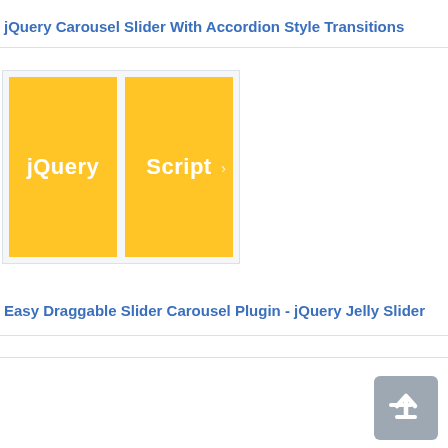jQuery Carousel Slider With Accordion Style Transitions
[Figure (screenshot): A carousel slider UI showing two yellow panels labeled 'jQuery' and 'Script' with a right arrow, inside a light gray bordered container]
Easy Draggable Slider Carousel Plugin - jQuery Jelly Slider
[Figure (illustration): A gray rounded square button with a white upward arrow icon, representing a back-to-top button]